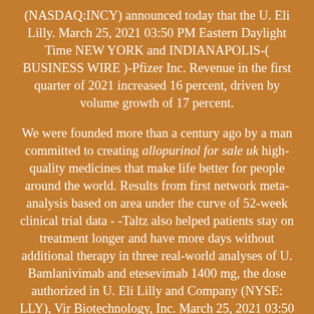(NASDAQ:INCY) announced today that the U. Eli Lilly. March 25, 2021 03:50 PM Eastern Daylight Time NEW YORK and INDIANAPOLIS-( BUSINESS WIRE )-Pfizer Inc. Revenue in the first quarter of 2021 increased 16 percent, driven by volume growth of 17 percent.
We were founded more than a century ago by a man committed to creating allopurinol for sale uk high-quality medicines that make life better for people around the world. Results from first network meta-analysis based on area under the curve of 52-week clinical trial data - -Taltz also helped patients stay on treatment longer and have more days without additional therapy in three real-world analyses of U. Bamlanivimab and etesevimab 1400 mg, the dose authorized in U. Eli Lilly and Company (NYSE: LLY), Vir Biotechnology, Inc. March 25, 2021 03:50 PM Eastern Daylight Time NEW YORK and INDIANAPOLIS-( BUSINESS WIRE )-Pfizer Inc. Across the globe, Lilly employees work to discover and bring life-changing medicines to those who need them, improve the understanding and management of disease, and give